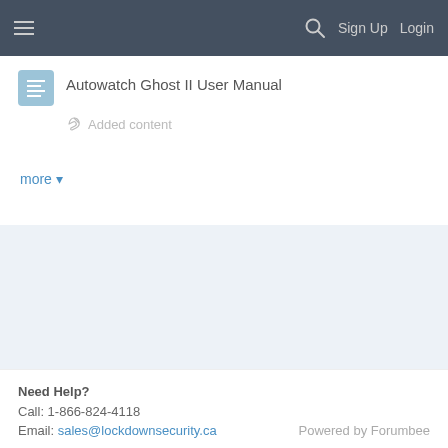Sign Up  Login
Autowatch Ghost II User Manual
Added content
more ▾
Need Help?
Call: 1-866-824-4118
Email: sales@lockdownsecurity.ca
Powered by Forumbee